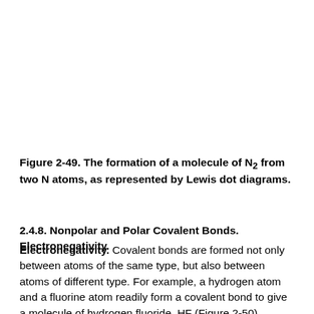Figure 2-49. The formation of a molecule of N₂ from two N atoms, as represented by Lewis dot diagrams.
2.4.8. Nonpolar and Polar Covalent Bonds. Electronegativity.
Covalent bonds are formed not only between atoms of the same type, but also between atoms of different type. For example, a hydrogen atom and a fluorine atom readily form a covalent bond to give a molecule of hydrogen fluoride, HF (Figure 2-50).